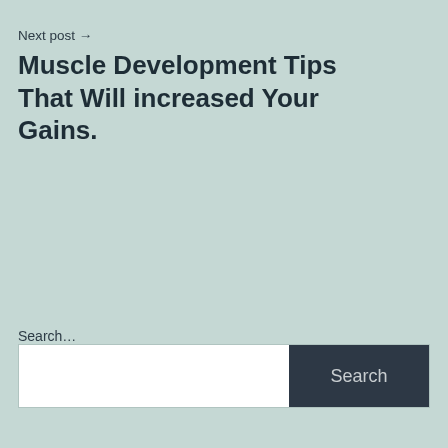Next post →
Muscle Development Tips That Will increased Your Gains.
Search...
[Figure (screenshot): Search input box with white text field on the left and a dark navy 'Search' button on the right]